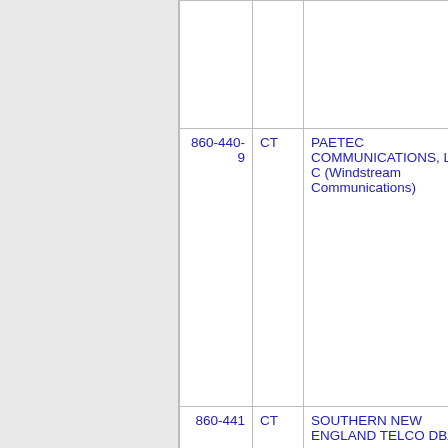| Number | ST | Name | Code |  |
| --- | --- | --- | --- | --- |
|  |  |  |  |  |
| 860-440-9 | CT | PAETEC COMMUNICATIONS, LLC - C (Windstream Communications) | 3083 |  |
| 860-441 | CT | SOUTHERN NEW ENGLAND TELCO DBA | 9147 |  |